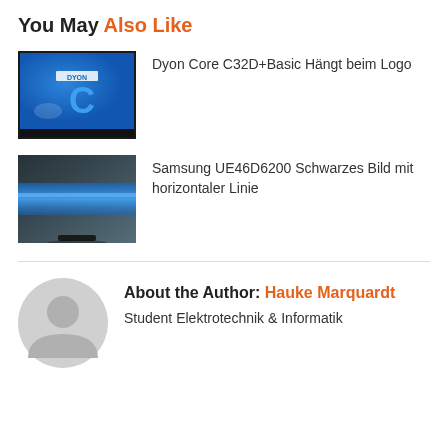You May Also Like
[Figure (photo): Dyon TV showing blue screen with Dyon logo and letter C]
Dyon Core C32D+Basic Hängt beim Logo
[Figure (photo): Samsung TV showing black screen with horizontal blue line]
Samsung UE46D6200 Schwarzes Bild mit horizontaler Linie
[Figure (illustration): Generic user avatar placeholder in grey]
About the Author: Hauke Marquardt
Student Elektrotechnik & Informatik